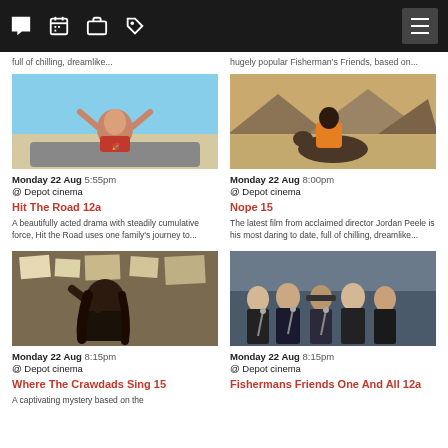Navigation bar with icons and menu
full of chilling, dreamlike...
hugely popular Fisherman's Friends, based on...
[Figure (photo): Child leaning out of car window with arms raised, joyful expression, desert landscape]
Monday 22 Aug 5:55pm @ Depot cinema
Hit The Road 12a
A beautifully acted drama with steadily cumulative force, Hit the Road uses one family's journey to...
[Figure (photo): Person in orange hoodie riding a horse in a desert with mountains in background]
Monday 22 Aug 8:00pm @ Depot cinema
Nope 15
The latest film from acclaimed director Jordan Peele is his most daring to date, full of chilling, dreamlike...
[Figure (photo): Woman with long dark hair working at a desk with papers and maps pinned to wall]
Monday 22 Aug 8:15pm @ Depot cinema
Where The Crawdads Sing 15
A captivating mystery based on the
[Figure (photo): Group of older men in dark coats singing with microphones, outdoor setting]
Monday 22 Aug 8:15pm @ Depot cinema
Fishermans Friends One And All 12a